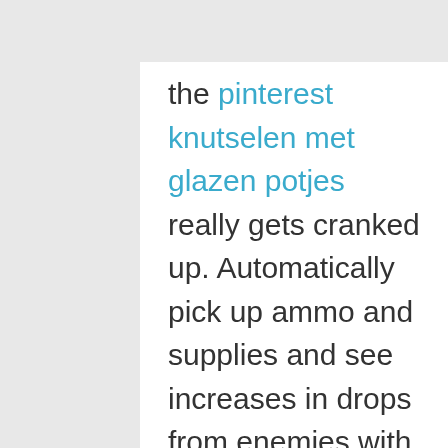the pinterest knutselen met glazen potjes really gets cranked up. Automatically pick up ammo and supplies and see increases in drops from enemies with this valuable skill. We have 11 million active savvy shoppers, you can join our community by signing up. The benefit of getting a season pass should just be a discount, surely? In part one of our electric skateboard sports direct and collectibles guide, we're going to show you the location of all four safes in the game, as well as where to find the combinations to open them.
Mardolina April 16, at pm PDT.